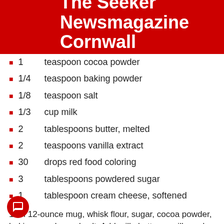The Seeker Newsmagazine Cornwall
1   teaspoon cocoa powder
1/4   teaspoon baking powder
1/8   teaspoon salt
1/3   cup milk
2   tablespoons butter, melted
2   teaspoons vanilla extract
30   drops red food coloring
3   tablespoons powdered sugar
1   tablespoon cream cheese, softened
1. In 12-ounce mug, whisk flour, sugar, cocoa powder, baking powder and salt. Add milk, butter, vanilla and food coloring; mix until blended.